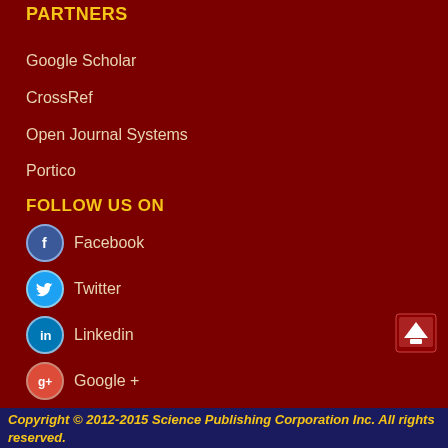PARTNERS
Google Scholar
CrossRef
Open Journal Systems
Portico
FOLLOW US ON
Facebook
Twitter
Linkedin
Google +
ADDRESS
Science Publishing Corporation
Jordan, Amman,
Queen Rania Street, The Union Building, Office 29
SPC@sciencepubco.com
Support@sciencepubco.com
Copyright © 2012-2015 Science Publishing Corporation Inc. All rights reserved.